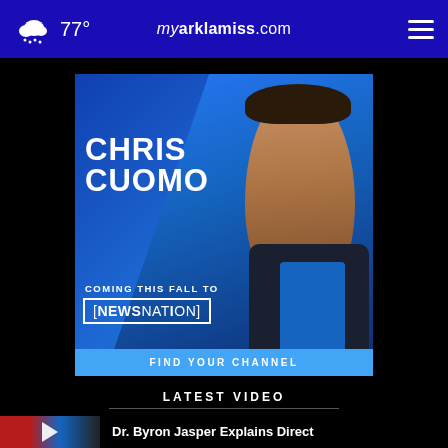77° myarklamiss.com
[Figure (photo): Chris Cuomo promotional advertisement for NewsNation. Text reads: CHRIS CUOMO, COMING THIS FALL TO [NEWSNATION], FIND YOUR CHANNEL]
LATEST VIDEO
Dr. Byron Jasper Explains Direct